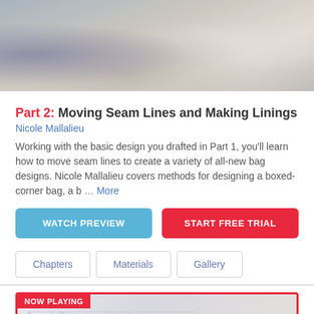[Figure (photo): Top photo showing sewing patterns and fabric pieces on a table]
Part 2: Moving Seam Lines and Making Linings
Nicole Mallalieu
Working with the basic design you drafted in Part 1, you'll learn how to move seam lines to create a variety of all-new bag designs. Nicole Mallalieu covers methods for designing a boxed-corner bag, a b ... More
WATCH PREVIEW
START FREE TRIAL
Chapters
Materials
Gallery
[Figure (photo): NOW PLAYING video thumbnail showing sewing pattern with scissors on table]